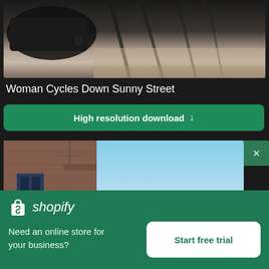[Figure (photo): Top portion of a photo showing a car and shadows cast on a sunny street/pavement]
Woman Cycles Down Sunny Street
High resolution download ↓
[Figure (photo): Photo of a brick building facade with blue sky in the background, viewed from a low angle]
[Figure (logo): Shopify logo with shopping bag icon and italic shopify text]
Need an online store for your business?
Start free trial